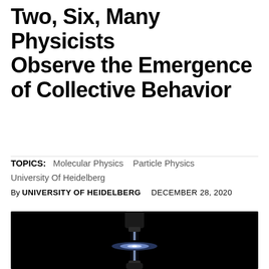Two, Six, Many Physicists Observe the Emergence of Collective Behavior
TOPICS: Molecular Physics   Particle Physics
University Of Heidelberg
By UNIVERSITY OF HEIDELBERG   DECEMBER 28, 2020
[Figure (photo): Dark background photograph of a laser and ion trap apparatus, showing a glowing bluish-white vertical beam connecting two trap electrodes, with a bright horizontal disc of light in the middle, against a black background.]